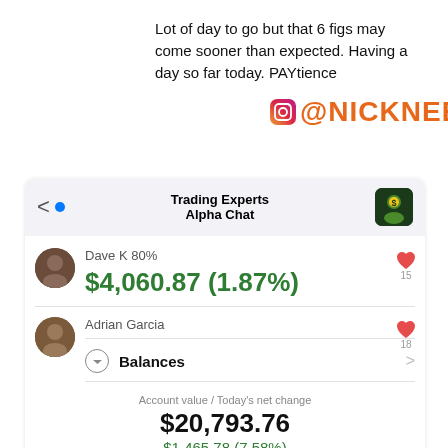Lot of day to go but that 6 figs may come sooner than expected. Having a day so far today. PAYtience
@NICKNEEF
[Figure (screenshot): Screenshot of Trading Experts Alpha Chat showing Dave K 80% with $4,060.87 (1.87%) gain and Adrian Garcia's Balances showing Account value $20,793.76 with Today's net change $1,465.78 (7.58%)]